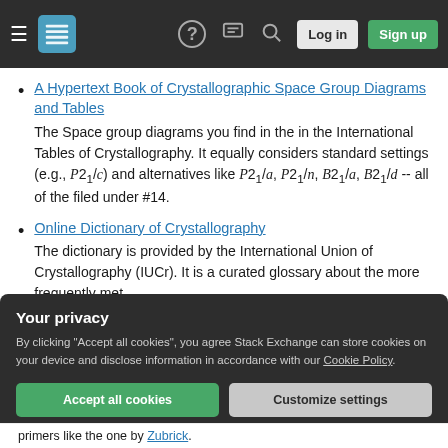Stack Exchange navigation bar with hamburger menu, logo, help, chat, search icons, Log in and Sign up buttons
A Hypertext Book of Crystallographic Space Group Diagrams and Tables
The Space group diagrams you find in the in the International Tables of Crystallography. It equally considers standard settings (e.g., P2₁/c) and alternatives like P2₁/a, P2₁/n, B2₁/a, B2₁/d -- all of the filed under #14.
Online Dictionary of Crystallography
The dictionary is provided by the International Union of Crystallography (IUCr). It is a curated glossary about the more frequently met
Your privacy
By clicking "Accept all cookies", you agree Stack Exchange can store cookies on your device and disclose information in accordance with our Cookie Policy.
primers like the one by Zubrick.